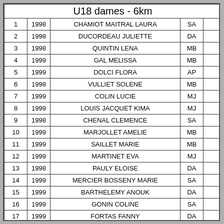|  | U18 dames - 6km |  |  |  |
| --- | --- | --- | --- | --- |
| 1 | 1998 | CHAMIOT MAITRAL LAURA | SA |  |
| 2 | 1998 | DUCORDEAU JULIETTE | DA |  |
| 3 | 1998 | QUINTIN LENA | MB |  |
| 4 | 1999 | GAL MELISSA | MB |  |
| 5 | 1999 | DOLCI FLORA | AP |  |
| 6 | 1998 | VULLIET SOLENE | MB |  |
| 7 | 1999 | COLIN LUCIE | MJ |  |
| 8 | 1999 | LOUIS JACQUET KIMA | MJ |  |
| 9 | 1998 | CHENAL CLEMENCE | SA |  |
| 10 | 1999 | MARJOLLET AMELIE | MB |  |
| 11 | 1999 | SAILLET MARIE | MB |  |
| 12 | 1999 | MARTINET EVA | MJ |  |
| 13 | 1998 | PAULY ELOISE | DA |  |
| 14 | 1999 | MERCIER BOSSENY MARIE | SA |  |
| 15 | 1999 | BARTHELEMY ANOUK | DA |  |
| 16 | 1999 | GONIN COLINE | SA |  |
| 17 | 1999 | FORTAS FANNY | DA |  |
| 18 | 1998 | FOURNIER FANNY | MB |  |
| 19 | 1998 | PIERREL MARGAUX | MB |  |
| DNS | 1999 | NOVEL MARGOT | SA |  |